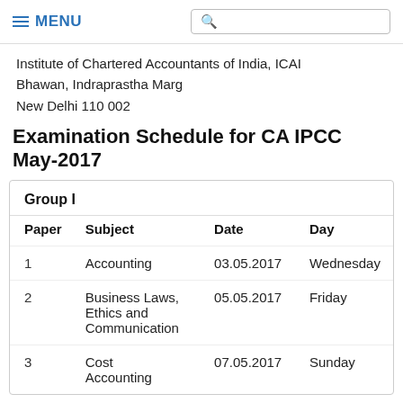MENU [search box]
Institute of Chartered Accountants of India, ICAI Bhawan, Indraprastha Marg
New Delhi 110 002
Examination Schedule for CA IPCC May-2017
| Paper | Subject | Date | Day |
| --- | --- | --- | --- |
| 1 | Accounting | 03.05.2017 | Wednesday |
| 2 | Business Laws, Ethics and Communication | 05.05.2017 | Friday |
| 3 | Cost Accounting | 07.05.2017 | Sunday |